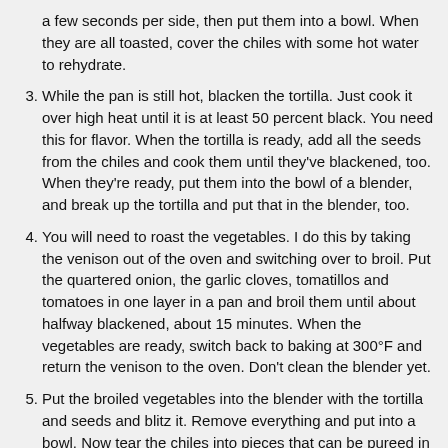a few seconds per side, then put them into a bowl. When they are all toasted, cover the chiles with some hot water to rehydrate.
3. While the pan is still hot, blacken the tortilla. Just cook it over high heat until it is at least 50 percent black. You need this for flavor. When the tortilla is ready, add all the seeds from the chiles and cook them until they've blackened, too. When they're ready, put them into the bowl of a blender, and break up the tortilla and put that in the blender, too.
4. You will need to roast the vegetables. I do this by taking the venison out of the oven and switching over to broil. Put the quartered onion, the garlic cloves, tomatillos and tomatoes in one layer in a pan and broil them until about halfway blackened, about 15 minutes. When the vegetables are ready, switch back to baking at 300°F and return the venison to the oven. Don't clean the blender yet.
5. Put the broiled vegetables into the blender with the tortilla and seeds and blitz it. Remove everything and put into a bowl. Now tear the chiles into pieces that can be pureed in a blender and add them to the blender bowl. Add a little chile